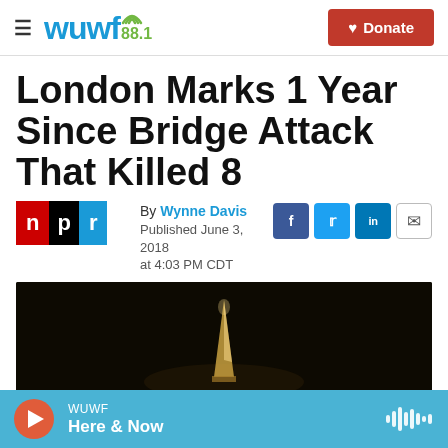wuwf 88.1 | Donate
London Marks 1 Year Since Bridge Attack That Killed 8
By Wynne Davis
Published June 3, 2018 at 4:03 PM CDT
[Figure (photo): Dark night sky photo with a glowing architectural structure (The Shard, London) visible in the lower center]
WUWF Here & Now